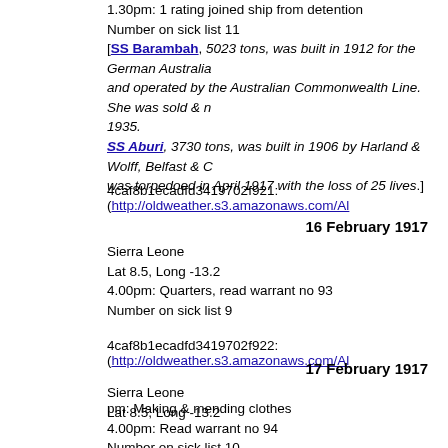1.30pm: 1 rating joined ship from detention
Number on sick list 11
[SS Barambah, 5023 tons, was built in 1912 for the German Australia and operated by the Australian Commonwealth Line. She was sold & ... 1935.
SS Aburi, 3730 tons, was built in 1906 by Harland & Wolff, Belfast & C... was torpedoed in April 1917 with the loss of 25 lives.]
4caf8b1ecadfd3419702f921: (http://oldweather.s3.amazonaws.com/Al...
16 February 1917
Sierra Leone
Lat 8.5, Long -13.2
4.00pm: Quarters, read warrant no 93
Number on sick list 9
4caf8b1ecadfd3419702f922: (http://oldweather.s3.amazonaws.com/Al...
17 February 1917
Sierra Leone
Lat 8.5, Long -13.2
pm: Making & mending clothes
4.00pm: Read warrant no 94
Number on sick list 10
4caf8b1ecadfd3419702f923: (http://oldweather.s3.amazonaws.com/Al...
18 February 1917
Sierra Leone
Lat 8.5, Long -13.2